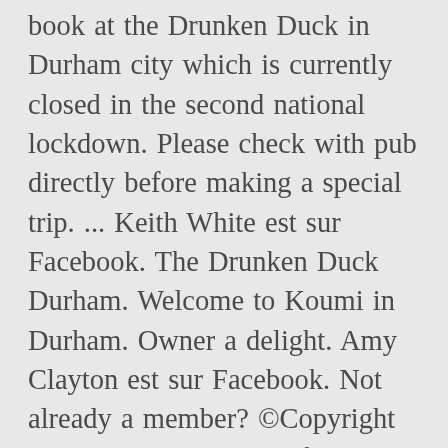book at the Drunken Duck in Durham city which is currently closed in the second national lockdown. Please check with pub directly before making a special trip. ... Keith White est sur Facebook. The Drunken Duck Durham. Welcome to Koumi in Durham. Owner a delight. Amy Clayton est sur Facebook. Not already a member? ©Copyright 2001-2020. 414 likes. If you are dissatisfied with the response provided you can contact IPSO here. Durham City Drunken Duck Fc DCDD : View: 11 Oct 2020 11/10/20 Sunday 10:30am: Swinburne Maddison Fourth Division: Willington Commercial Fc WCFC: 1-8: Burnside Wmc Fc BWM : View: Mick Henderson Durham League Cup – sponsored